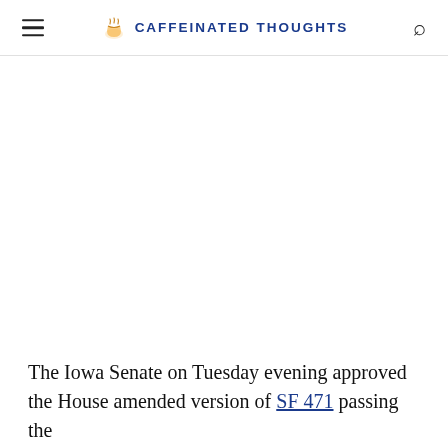≡  CAFFEINATED THOUGHTS  🔍
The Iowa Senate on Tuesday evening approved the House amended version of SF 471 passing the